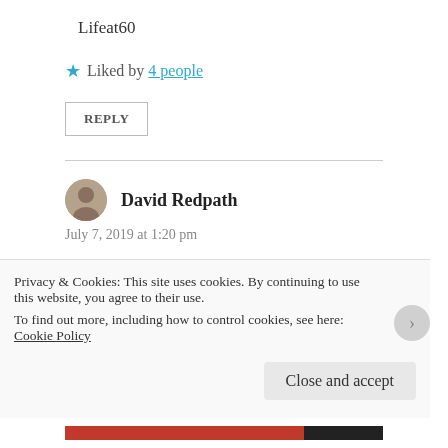Lifeat60
Liked by 4 people
REPLY
David Redpath
July 7, 2019 at 1:20 pm
The louder they catch
the harder they drop
Reaping a crop
of dismal defeat
Privacy & Cookies: This site uses cookies. By continuing to use this website, you agree to their use.
To find out more, including how to control cookies, see here: Cookie Policy
Close and accept